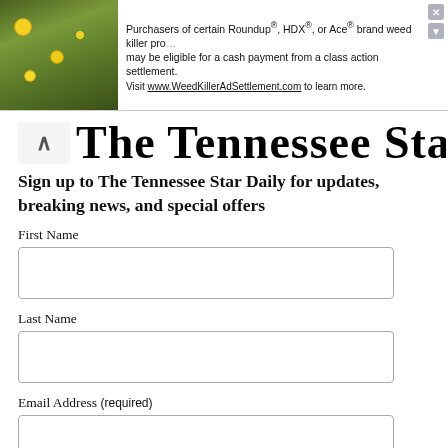[Figure (other): Advertisement banner: image of yellow flowers on green background on left, text about Roundup/HDX/Ace weed killer class action settlement with link to WeedKillerAdSettlement.com, close button on right]
The Tennessee Star
Sign up to The Tennessee Star Daily for updates, breaking news, and special offers
First Name
Last Name
Email Address (required)
Subscribe
[Figure (other): Action 247 advertisement banner with dark background and white bold text partially visible at bottom]